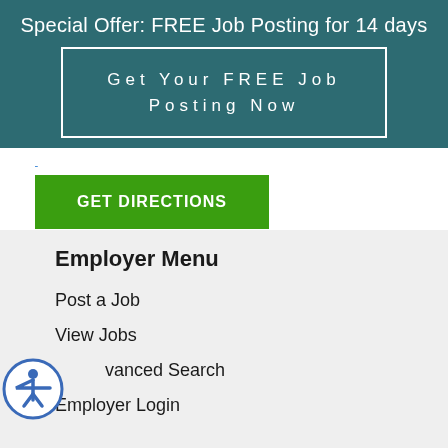Special Offer: FREE Job Posting for 14 days
Get Your FREE Job Posting Now
GET DIRECTIONS
Employer Menu
Post a Job
View Jobs
Advanced Search
Employer Login